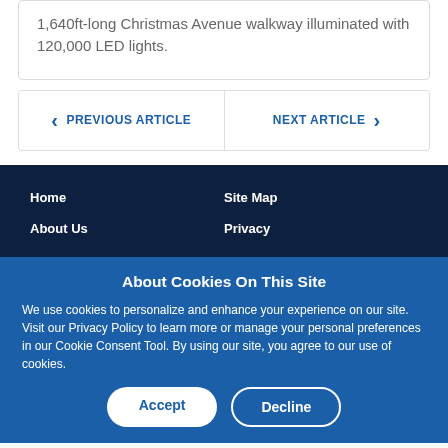1,640ft-long Christmas Avenue walkway illuminated with 120,000 LED lights.
PREVIOUS ARTICLE
NEXT ARTICLE
Home
Site Map
About Us
Privacy
About Cookies On This Site
We use cookies to personalize and enhance your experience on our site. Visit our Privacy Policy to learn more or manage your personal preferences in our Cookie Consent Tool. By using our site, you agree to our use of cookies.
Accept
Decline